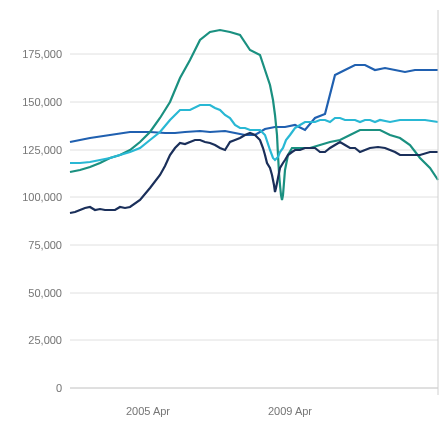[Figure (continuous-plot): Multi-line time series chart showing 4 lines (dark navy blue, medium blue, cyan/light blue, teal/dark green) tracking values roughly between 95,000 and 205,000 from approximately 2004 to 2012. Y-axis labels: 0, 25,000, 50,000, 75,000, 100,000, 125,000, 150,000, 175,000. X-axis labels: 2005 Apr, 2009 Apr. Lines cluster between 95,000 and 205,000 in the upper portion. A peak appears around 2007-2008 for the teal and medium blue lines reaching above 200,000, then drops sharply around 2009.]